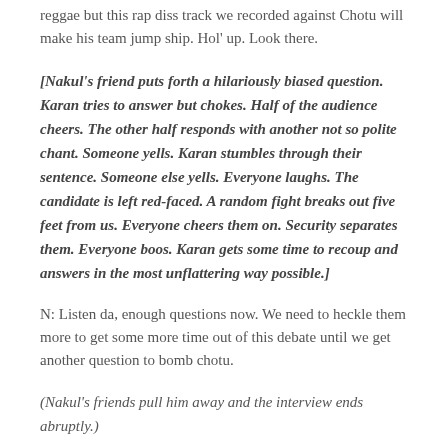reggae but this rap diss track we recorded against Chotu will make his team jump ship. Hol' up. Look there.
[Nakul's friend puts forth a hilariously biased question. Karan tries to answer but chokes. Half of the audience cheers. The other half responds with another not so polite chant. Someone yells. Karan stumbles through their sentence. Someone else yells. Everyone laughs. The candidate is left red-faced. A random fight breaks out five feet from us. Everyone cheers them on. Security separates them. Everyone boos. Karan gets some time to recoup and answers in the most unflattering way possible.]
N: Listen da, enough questions now. We need to heckle them more to get some more time out of this debate until we get another question to bomb chotu.
(Nakul's friends pull him away and the interview ends abruptly.)